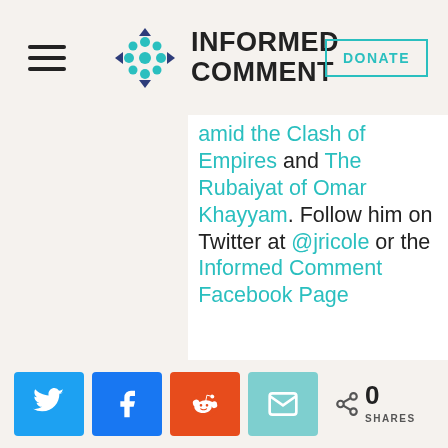INFORMED COMMENT
amid the Clash of Empires and The Rubaiyat of Omar Khayyam. Follow him on Twitter at @jricole or the Informed Comment Facebook Page
0 SHARES